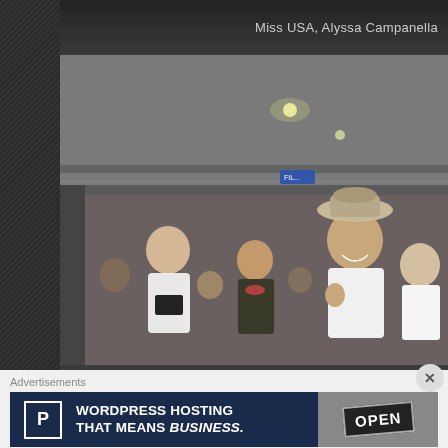Miss USA, Alyssa Campanella
[Figure (photo): Photo of Miss USA Alyssa Campanella at what appears to be an airport, surrounded by a crowd. She is wearing a beige/cream fedora hat, smiling, with people around her including a man with a camera.]
Advertisements
[Figure (other): Advertisement banner for WordPress Hosting - 'WORDPRESS HOSTING THAT MEANS BUSINESS.' with a P logo on dark navy background and an OPEN sign image on the right]